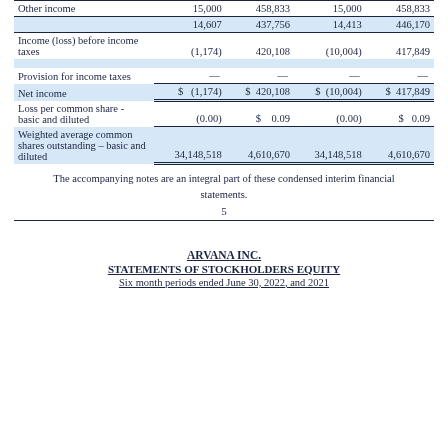|  | Col1 | Col2 | Col3 | Col4 |
| --- | --- | --- | --- | --- |
| Other income | 15,000 | 458,833 | 15,000 | 458,833 |
|  | 14,607 | 437,756 | 14,413 | 446,170 |
| Income (loss) before income taxes | (1,174) | 420,108 | (10,004) | 417,849 |
| Provision for income taxes | — | — | — | — |
| Net income | $ (1,174) | $ 420,108 | $ (10,004) | $ 417,849 |
| Loss per common share - basic and diluted | (0.00) | $ 0.09 | (0.00) | $ 0.09 |
| Weighted average common shares outstanding – basic and diluted | 34,148,518 | 4,610,670 | 34,148,518 | 4,610,670 |
The accompanying notes are an integral part of these condensed interim financial statements.
5
ARVANA INC.
STATEMENTS OF STOCKHOLDERS EQUITY
Six month periods ended June 30, 2022, and 2021